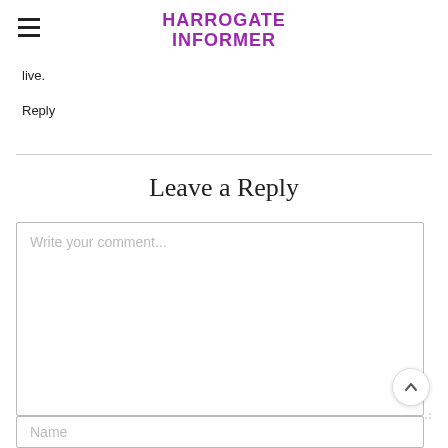HARROGATE INFORMER
live.
Reply
Leave a Reply
[Figure (screenshot): Comment textarea with placeholder text 'Write your comment...']
Name